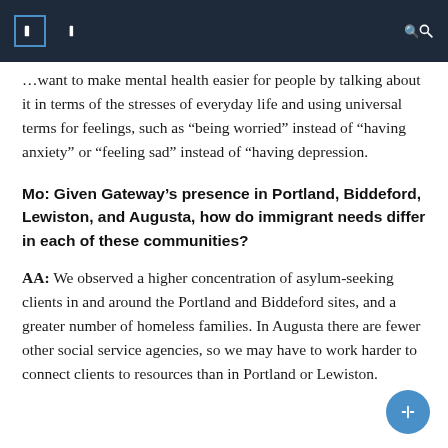[navigation header with icons]
... want to make mental health easier for people by talking about it in terms of the stresses of everyday life and using universal terms for feelings, such as “being worried” instead of “having anxiety” or “feeling sad” instead of “having depression.
Mo: Given Gateway’s presence in Portland, Biddeford, Lewiston, and Augusta, how do immigrant needs differ in each of these communities?
AA: We observed a higher concentration of asylum-seeking clients in and around the Portland and Biddeford sites, and a greater number of homeless families. In Augusta there are fewer other social service agencies, so we may have to work harder to connect clients to resources than in Portland or Lewiston.